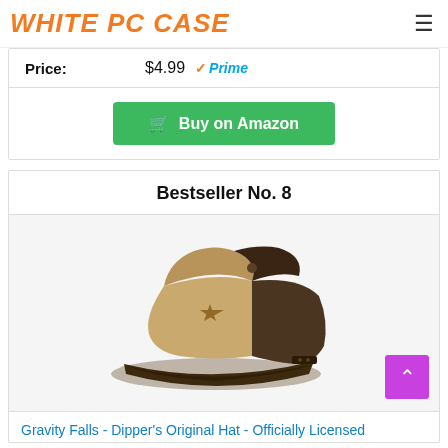WHITE PC CASE
| Price: | $4.99 Prime |
| --- | --- |
Buy on Amazon
Bestseller No. 8
[Figure (photo): Gravity Falls Dipper's Original Hat - a brown and tan snapback cap with a star on the front panel]
Gravity Falls - Dipper’s Original Hat - Officially Licensed